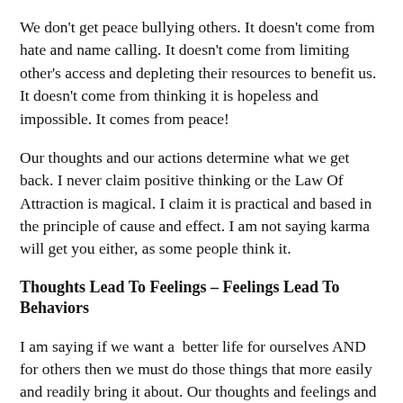We don't get peace bullying others. It doesn't come from hate and name calling. It doesn't come from limiting other's access and depleting their resources to benefit us. It doesn't come from thinking it is hopeless and impossible. It comes from peace!
Our thoughts and our actions determine what we get back. I never claim positive thinking or the Law Of Attraction is magical. I claim it is practical and based in the principle of cause and effect. I am not saying karma will get you either, as some people think it.
Thoughts Lead To Feelings – Feelings Lead To Behaviors
I am saying if we want a  better life for ourselves AND for others then we must do those things that more easily and readily bring it about. Our thoughts and feelings and behaviors ARE important. That is why I share what I share. Yes, others